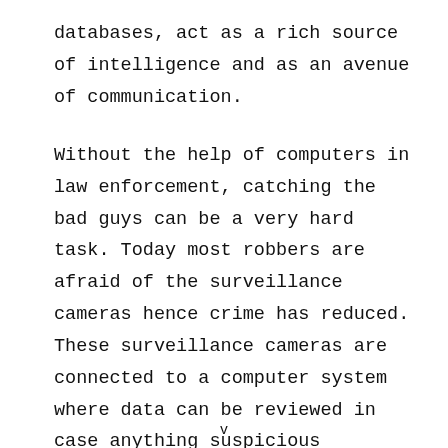databases, act as a rich source of intelligence and as an avenue of communication.
Without the help of computers in law enforcement, catching the bad guys can be a very hard task. Today most robbers are afraid of the surveillance cameras hence crime has reduced. These surveillance cameras are connected to a computer system where data can be reviewed in case anything suspicious happens. Computers make police filing safe and makes it easy to
v